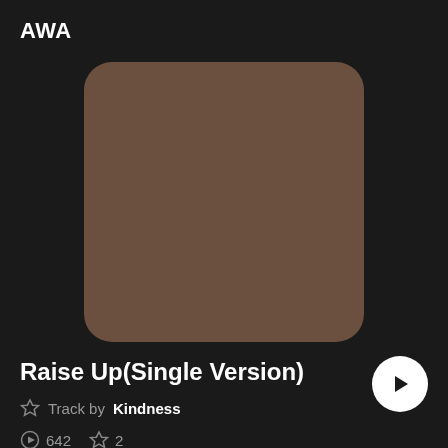AWA
[Figure (illustration): Brown rounded square album art placeholder for track 'Raise Up (Single Version)' by Kindness on AWA music app]
Raise Up(Single Version)
Track by Kindness
642  2